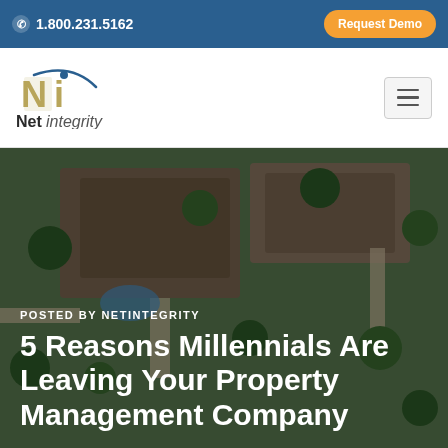1.800.231.5162 | Request Demo
[Figure (logo): Net Integrity logo with stylized NI letters and cursive arc]
[Figure (photo): Aerial view of residential properties with green trees and driveways]
POSTED BY NETINTEGRITY
5 Reasons Millennials Are Leaving Your Property Management Company